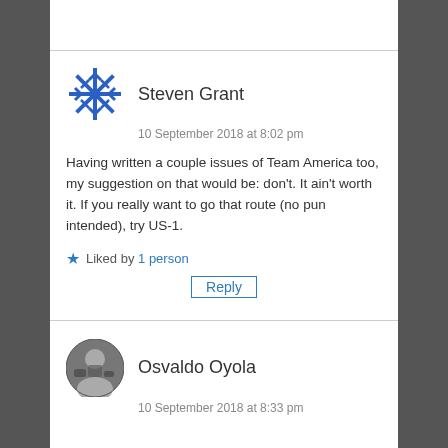Steven Grant
10 September 2018 at 8:02 pm
Having written a couple issues of Team America too, my suggestion on that would be: don't. It ain't worth it. If you really want to go that route (no pun intended), try US-1.
Liked by 1 person
Reply
Osvaldo Oyola
10 September 2018 at 8:33 pm